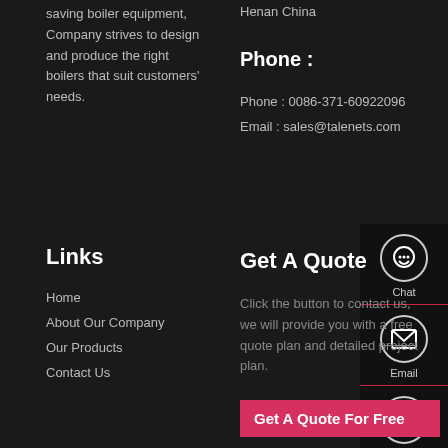saving boiler equipment, Company strives to design and produce the right boilers that suit customers' needs.
Henan China
Phone :
Phone : 0086-371-60922096
Email : sales@talenets.com
[Figure (illustration): Sidebar with Chat, Email, and Contact icons on dark background with red dividers]
Links
Home
About Our Company
Our Products
Contact Us
Get A Quote
Click the button to contact us, we will provide you with a free quote plan and detailed project plan.
Get A Quote For Free